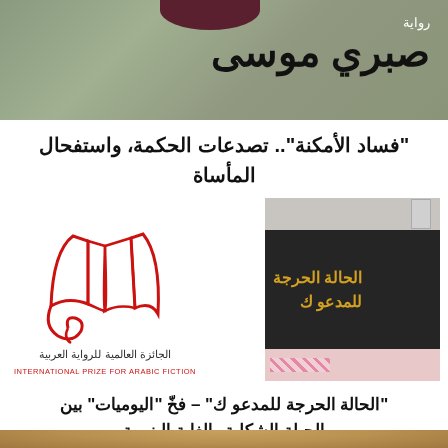[Figure (illustration): Book cover image with muted gray-green textured background, Arabic text 'رواية' (novel) and author name 'صبري موسى' in large bold black Arabic script]
"فساد الأمكنة".. تصدعات الحكمة، واستفحال المأساة
[Figure (logo): International Prize for Arabic Fiction logo: red open book illustration with Arabic text 'الجائزة العالمية للرواية العربية' and English text 'INTERNATIONAL PRIZE FOR ARABIC FICTION']
[Figure (photo): Book cover of 'الحالة الحرجة للمدعو ك' with dark background and Arabic/yellow text]
"الحالة الحرجة للمدعو ك" – فخّ "اليوميات" بين الحيلة الشكلية والغاية البنيوية
[Figure (photo): Partial photo of a person's head/face at the bottom of the page]